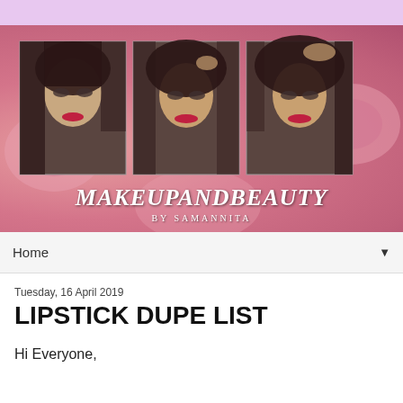[Figure (photo): Blog banner with lavender top bar, pink rose background, three portrait photos of a woman with dark smoky eye makeup and pink-red lipstick, overlaid with 'MAKEUPANDBEAUTY by Samannita' text]
Home ▼
Tuesday, 16 April 2019
LIPSTICK DUPE LIST
Hi Everyone,